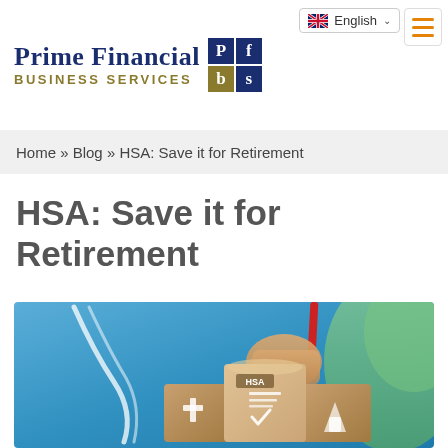Prime Financial Business Services
English
Home » Blog » HSA: Save it for Retirement
HSA: Save it for Retirement
[Figure (photo): A person in blue scrubs or medical clothing holding wooden blocks with HSA and healthcare icons on them, stethoscope visible, green foliage in background]